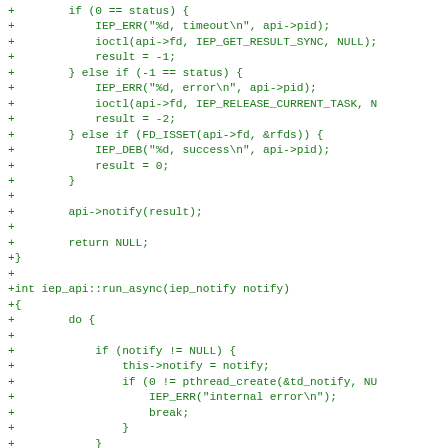[Figure (other): Diff/patch view of C++ source code showing added lines (prefixed with +) in green monospace font. Code shows conditional logic for timeout/error handling and an iep_api::run_async function with pthread_create call.]